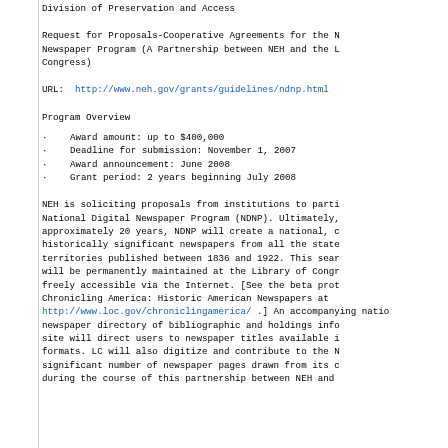Division of Preservation and Access
Request for Proposals-Cooperative Agreements for the National Digital Newspaper Program (A Partnership between NEH and the Library of Congress)
URL:  http://www.neh.gov/grants/guidelines/ndnp.html
Program Overview
Award amount: up to $400,000
Deadline for submission: November 1, 2007
Award announcement: June 2008
Grant period: 2 years beginning July 2008
NEH is soliciting proposals from institutions to participate in the National Digital Newspaper Program (NDNP). Ultimately, over approximately 20 years, NDNP will create a national, collection of historically significant newspapers from all the states and territories published between 1836 and 1922. This searchable database will be permanently maintained at the Library of Congress and freely accessible via the Internet. [See the beta prototype, Chronicling America: Historic American Newspapers at http://www.loc.gov/chroniclingamerica/ .] An accompanying national newspaper directory of bibliographic and holdings information at this site will direct users to newspaper titles available in a variety of formats. LC will also digitize and contribute to the NDNP a significant number of newspaper pages drawn from its own collection during the course of this partnership between NEH and